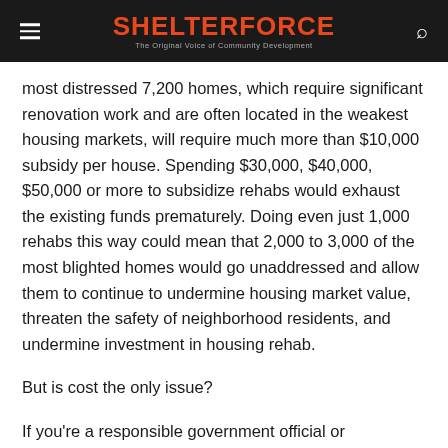SHELTERFORCE — The Original Voice of Community Development
most distressed 7,200 homes, which require significant renovation work and are often located in the weakest housing markets, will require much more than $10,000 subsidy per house. Spending $30,000, $40,000, $50,000 or more to subsidize rehabs would exhaust the existing funds prematurely. Doing even just 1,000 rehabs this way could mean that 2,000 to 3,000 of the most blighted homes would go unaddressed and allow them to continue to undermine housing market value, threaten the safety of neighborhood residents, and undermine investment in housing rehab.
But is cost the only issue?
If you're a responsible government official or community development practitioner who has to work within a budget or